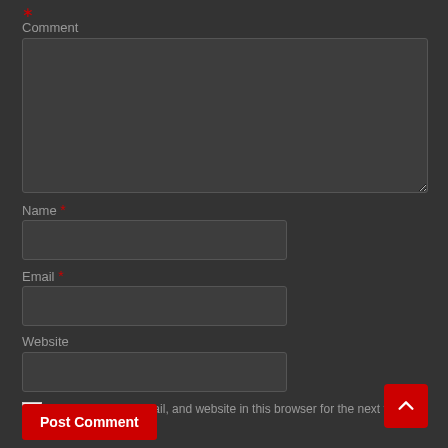* (red asterisk top left)
Comment
Name *
Email *
Website
Save my name, email, and website in this browser for the next time I comment.
Post Comment